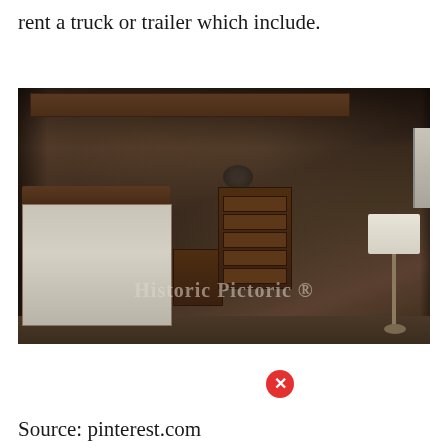rent a truck or trailer which include.
[Figure (photo): Dark, moody interior photograph of an old bedroom with weathered walls. Contains a single bed with white bedspread, wooden headboard, nightstand with a small fan, a tall wooden chest of drawers with items on top, a wooden rocking/slat chair, and a floor lamp with white shade. The walls show aged, peeling plaster. A watermark reads 'Historic Pictoric ®'.]
Source: pinterest.com